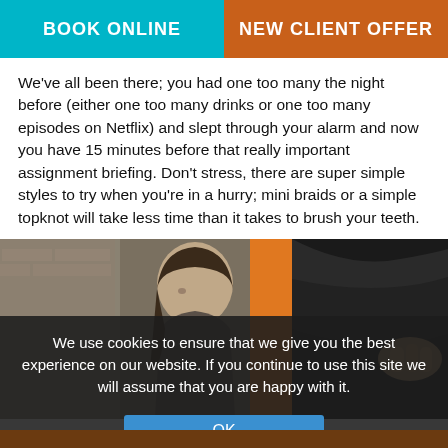BOOK ONLINE | NEW CLIENT OFFER
We've all been there; you had one too many the night before (either one too many drinks or one too many episodes on Netflix) and slept through your alarm and now you have 15 minutes before that really important assignment briefing. Don't stress, there are super simple styles to try when you're in a hurry; mini braids or a simple topknot will take less time than it takes to brush your teeth.
[Figure (photo): Photo collage showing a woman with straight brown hair in profile view on the left, an orange vertical bar in the middle, and close-up of dark hair being styled on the right.]
We use cookies to ensure that we give you the best experience on our website. If you continue to use this site we will assume that you are happy with it.